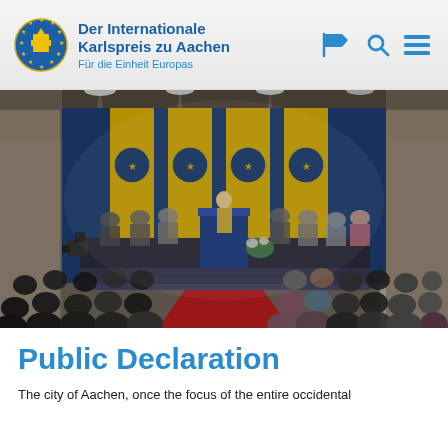Der Internationale Karlspreis zu Aachen – Für die Einheit Europas
[Figure (photo): Ceremonial award event in a Gothic hall with blue and gold banners bearing the Karlspreis emblem. A speaker stands at a podium on a raised stage; dignitaries are seated on both sides. Audience fills the foreground with a red carpet down the centre aisle.]
Public Declaration
The city of Aachen, once the focus of the entire occidental